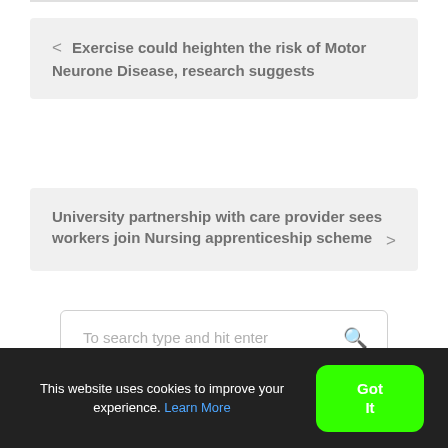< Exercise could heighten the risk of Motor Neurone Disease, research suggests
University partnership with care provider sees workers join Nursing apprenticeship scheme >
To search type and hit enter
This website uses cookies to improve your experience. Learn More
Got It